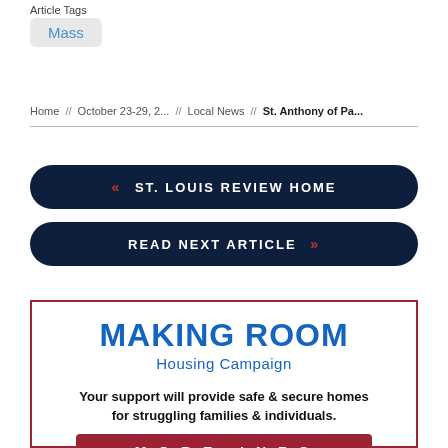Article Tags
Mass
Home // October 23-29, 2... // Local News // St. Anthony of Pa...
[Figure (other): Navigation button: ST. LOUIS REVIEW HOME with left arrow]
[Figure (other): Navigation button: READ NEXT ARTICLE with right arrow]
[Figure (infographic): Advertisement box for Making Room Housing Campaign. Text: Your support will provide safe & secure homes for struggling families & individuals. Button: MORE INFO. Text: Donate at:]